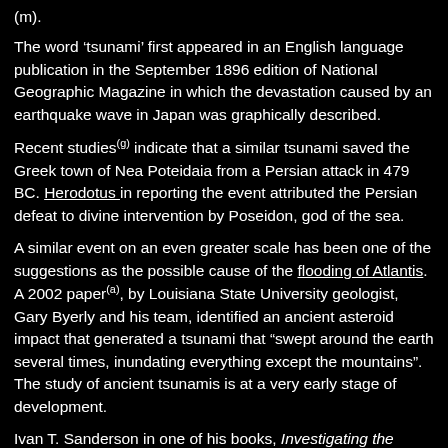(m).
The word ‘tsunami’ first appeared in an English language publication in the September 1896 edition of National Geographic Magazine in which the devastation caused by an earthquake wave in Japan was graphically described.
Recent studies(g) indicate that a similar tsunami saved the Greek town of Nea Poteidaia from a Persian attack in 479 BC. Herodotus in reporting the event attributed the Persian defeat to divine intervention by Poseidon, god of the sea.
A similar event on an even greater scale has been one of the suggestions as the possible cause of the flooding of Atlantis. A 2002 paper(a), by Louisiana State University geologist, Gary Byerly and his team, identified an ancient asteroid impact that generated a tsunami that “swept around the earth several times, inundating everything except the mountains”. The study of ancient tsunamis is at a very early stage of development.
Ivan T. Sanderson in one of his books, Investigating the Unexplained [768], recounts an 1863 report of a 200-foot high tsunami that goes up the Ganges and Hooghli River...